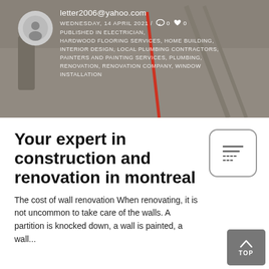[Figure (photo): Hero image of construction/renovation workers in the background with overlay showing blog post metadata including author email, date, and categories]
letter2006@yahoo.com WEDNESDAY, 14 APRIL 2021 / PUBLISHED IN ELECTRICIAN, HARDWOOD FLOORING SERVICES, HOME BUILDING, INTERIOR DESIGN, LOCAL PLUMBING CONTRACTORS, PAINTERS AND PAINTING SERVICES, PLUMBING, RENOVATION, RENOVATION COMPANY, WINDOW INSTALLATION
Your expert in construction and renovation in montreal
The cost of wall renovation When renovating, it is not uncommon to take care of the walls. A partition is knocked down, a wall is painted, a wall...